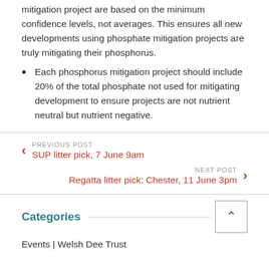mitigation project are based on the minimum confidence levels, not averages. This ensures all new developments using phosphate mitigation projects are truly mitigating their phosphorus.
Each phosphorus mitigation project should include 20% of the total phosphate not used for mitigating development to ensure projects are not nutrient neutral but nutrient negative.
PREVIOUS POST
SUP litter pick, 7 June 9am
NEXT POST
Regatta litter pick: Chester, 11 June 3pm
Categories
Events | Welsh Dee Trust